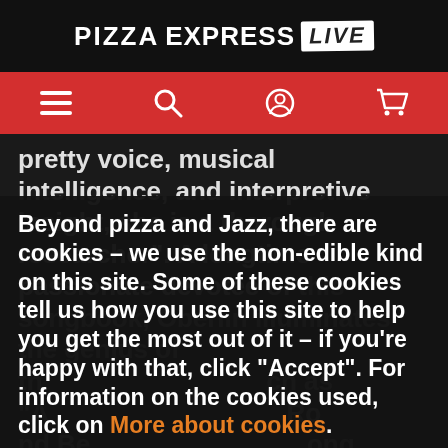PIZZAEXPRESS LIVE
[Figure (screenshot): Red navigation bar with hamburger menu, search, user account, and shopping cart icons in white on red background]
pretty voice, musical intelligence, and interpretive insight, she is a thorough researcher". A longtime passionate devotee of this songbook, Oberlin illuminates the genius of th... as "A... Ro... Be... sup... thi... fas... of B... musical theatre than any team before or
Beyond pizza and Jazz, there are cookies – we use the non-edible kind on this site. Some of these cookies tell us how you use this site to help you get the most out of it – if you're happy with that, click "Accept". For information on the cookies used, click on More about cookies.
Accept